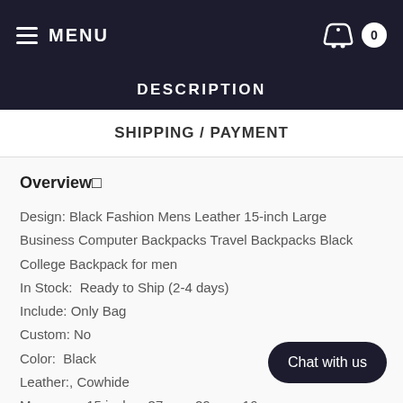MENU | 0
DESCRIPTION
SHIPPING / PAYMENT
Overview
Design: Black Fashion Mens Leather 15-inch Large Business Computer Backpacks Travel Backpacks Black College Backpack for men
In Stock:  Ready to Ship (2-4 days)
Include: Only Bag
Custom: No
Color:  Black
Leather:, Cowhide
Measures: 15 inches 37cm x 29cm x 16cm